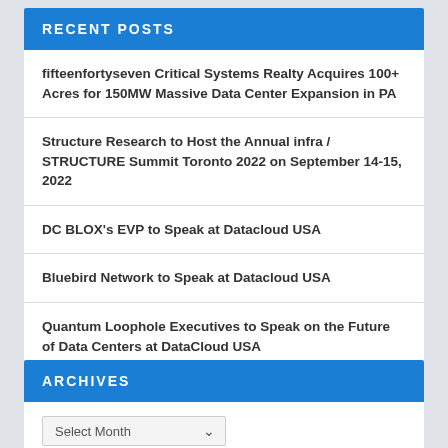RECENT POSTS
fifteenfortyseven Critical Systems Realty Acquires 100+ Acres for 150MW Massive Data Center Expansion in PA
Structure Research to Host the Annual infra / STRUCTURE Summit Toronto 2022 on September 14-15, 2022
DC BLOX's EVP to Speak at Datacloud USA
Bluebird Network to Speak at Datacloud USA
Quantum Loophole Executives to Speak on the Future of Data Centers at DataCloud USA
ARCHIVES
Select Month